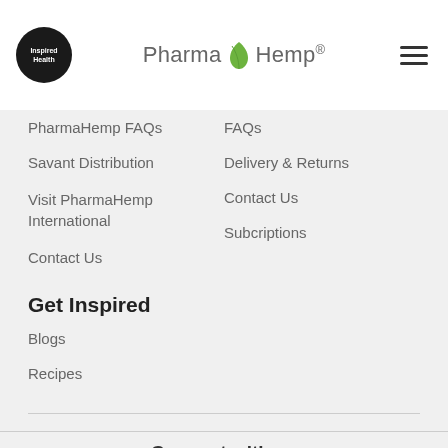Inspired Health | Pharma Hemp®
PharmaHemp FAQs
FAQs
Savant Distribution
Delivery & Returns
Visit PharmaHemp International
Contact Us
Contact Us
Subcriptions
Get Inspired
Blogs
Recipes
Connect with us
[Figure (infographic): Facebook and Instagram social media icons]